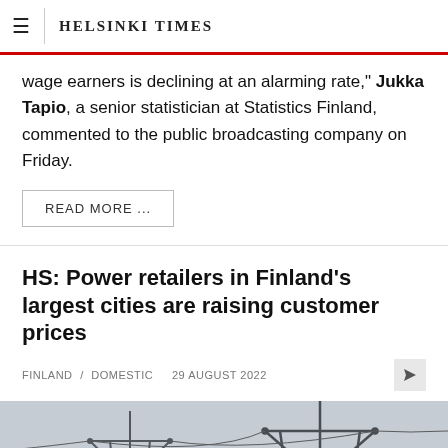Helsinki Times
wage earners is declining at an alarming rate," Jukka Tapio, a senior statistician at Statistics Finland, commented to the public broadcasting company on Friday.
READ MORE ...
HS: Power retailers in Finland's largest cities are raising customer prices
FINLAND / DOMESTIC  29 AUGUST 2022
[Figure (photo): Photograph of electrical power transmission pylons/towers with power lines against a grey sky.]